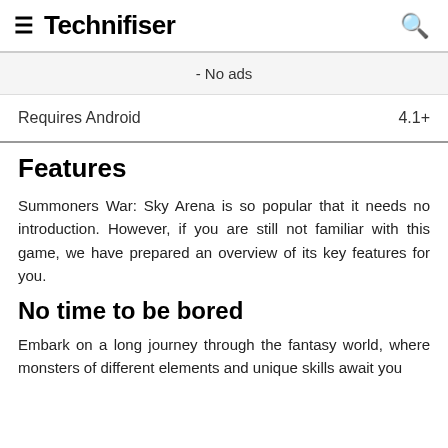≡ Technifiser 🔍
- No ads
| Requires Android | 4.1+ |
| --- | --- |
Features
Summoners War: Sky Arena is so popular that it needs no introduction. However, if you are still not familiar with this game, we have prepared an overview of its key features for you.
No time to be bored
Embark on a long journey through the fantasy world, where monsters of different elements and unique skills await you